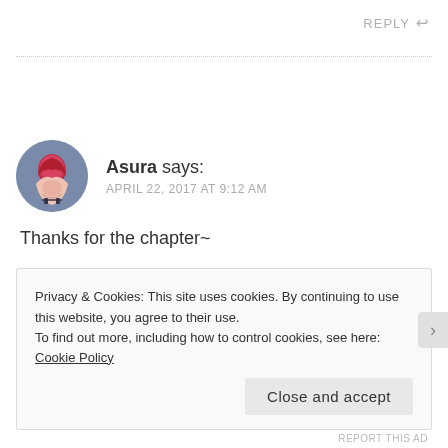REPLY ↩
Asura says:
APRIL 22, 2017 AT 9:12 AM
Thanks for the chapter~
Privacy & Cookies: This site uses cookies. By continuing to use this website, you agree to their use.
To find out more, including how to control cookies, see here: Cookie Policy
Close and accept
REPORT THIS AD